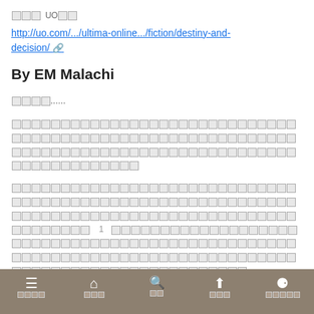■■■ UO■■
http://uo.com/.../ultima-online.../fiction/destiny-and-decision/ ↗
By EM Malachi
■■■■......
■■■■■■■■■■■■■■■■■■■■■■■■■■■■■■■■■■■■■■■■■■■■■■■■■■■■■■■■■■■■■■■■■■■■■■■■■
■■■■■■■■■■■■■■■■■■■■■■■■■■■■■■■■■■■■■■■■■■■■■■■■■■■■■■■■■■■■■■■■■■■■■■■■■■■■■■■■■■■■■■■■■■■■■■■
■■■■  ■■■  ■■  ■■■■  ■■■■■■